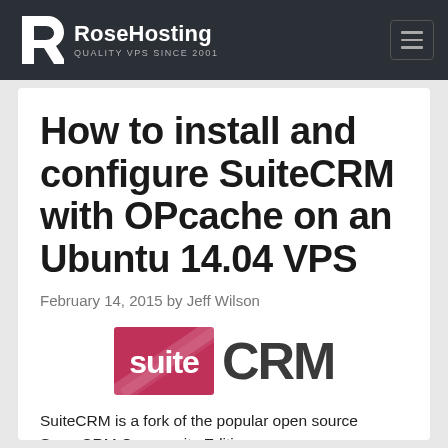RoseHosting — QUALITY VPS SINCE 2001
How to install and configure SuiteCRM with OPcache on an Ubuntu 14.04 VPS
February 14, 2015 by Jeff Wilson
[Figure (logo): SuiteCRM logo — pink/red background with 'suite' in white text, followed by 'CRM' in large dark grey letters]
SuiteCRM is a fork of the popular open source SugarCRM Community Edition.